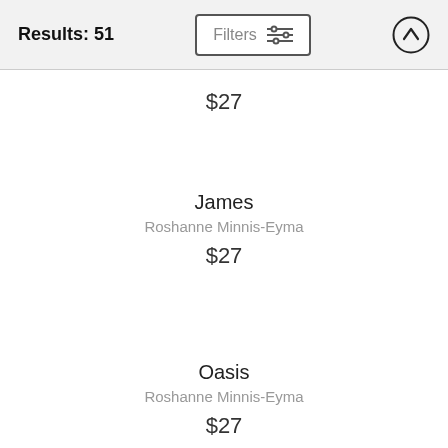Results: 51
$27
James
Roshanne Minnis-Eyma
$27
Oasis
Roshanne Minnis-Eyma
$27